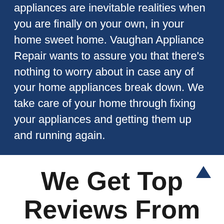appliances are inevitable realities when you are finally on your own, in your home sweet home. Vaughan Appliance Repair wants to assure you that there's nothing to worry about in case any of your home appliances break down. We take care of your home through fixing your appliances and getting them up and running again.
(647) 371-1371
contact@alpheating.ca
We Get Top Reviews From